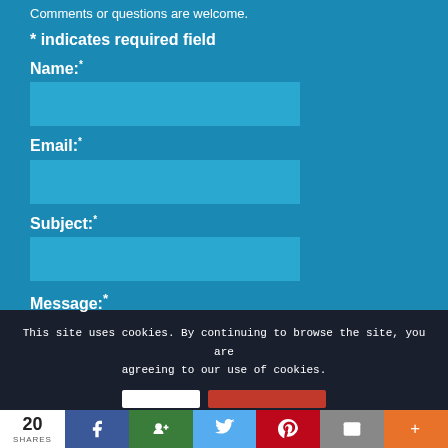Comments or questions are welcome.
* indicates required field
Name: *
Email: *
Subject: *
Message: *
This site uses cookies. By continuing to browse the site, you are agreeing to our use of cookies.
20 SHARES